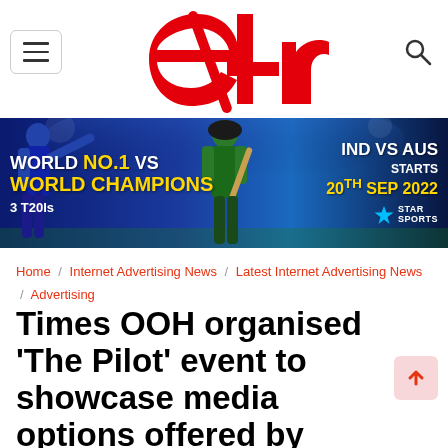[Figure (logo): e4m logo in red with stylized lettering]
[Figure (photo): Star Sports cricket advertisement banner: WORLD No.1 VS WORLD CHAMPIONS, IND vs AUS, STARTS 20TH SEP 2022, 3 T20Is, Star Sports logo]
Home / Internet Advertising News / Latest Internet Advertising News / Advertising
Times OOH organised 'The Pilot' event to showcase media options offered by Indore Airport